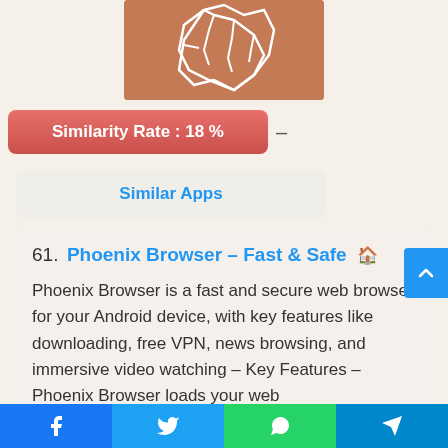[Figure (illustration): App icon or illustration with hand gesture on brown/tan background]
Similarity Rate : 18 %
Similar Apps
61. Phoenix Browser – Fast & Safe
Phoenix Browser is a fast and secure web browser for your Android device, with key features like downloading, free VPN, news browsing, and immersive video watching – Key Features – Phoenix Browser loads your web